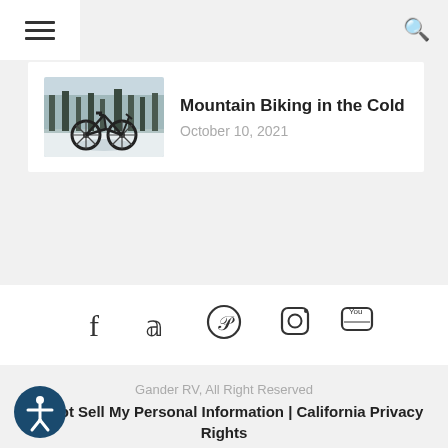Navigation header with hamburger menu and search icon
[Figure (photo): Mountain bike on snowy winter landscape]
Mountain Biking in the Cold
October 10, 2021
[Figure (infographic): Social media icons: Facebook, Twitter, Pinterest, Instagram, YouTube]
Gander RV, All Right Reserved
Do Not Sell My Personal Information | California Privacy Rights